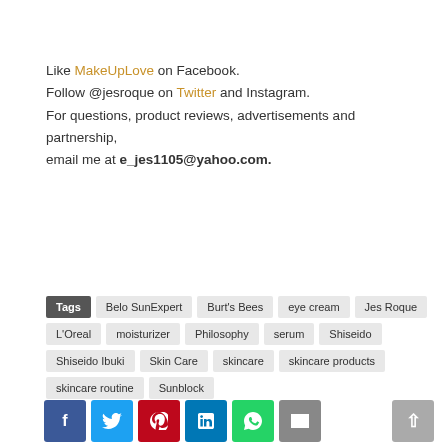Like MakeUpLove on Facebook.
Follow @jesroque on Twitter and Instagram.
For questions, product reviews, advertisements and partnership, email me at e_jes1105@yahoo.com.
Tags: Belo SunExpert, Burt's Bees, eye cream, Jes Roque, L'Oreal, moisturizer, Philosophy, serum, Shiseido, Shiseido Ibuki, Skin Care, skincare, skincare products, skincare routine, Sunblock
[Figure (other): Social sharing buttons: Facebook, Twitter, Pinterest, LinkedIn, WhatsApp, Email, and a scroll-to-top button]